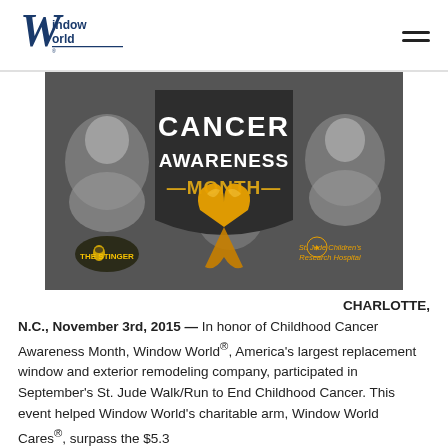Window World
[Figure (photo): Cancer Awareness Month promotional image with dark badge/shield showing 'CANCER AWARENESS MONTH' text and a gold ribbon, with three children in background (black and white photos), The Stinger logo bottom left, St. Jude Children's Research Hospital logo bottom right]
CHARLOTTE, N.C., November 3rd, 2015 — In honor of Childhood Cancer Awareness Month, Window World®, America's largest replacement window and exterior remodeling company, participated in September's St. Jude Walk/Run to End Childhood Cancer. This event helped Window World's charitable arm, Window World Cares®, surpass the $5.3 million mark for donations for cancer and children's...